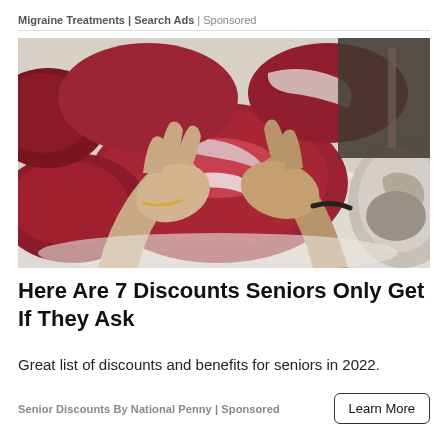Migraine Treatments | Search Ads | Sponsored
[Figure (photo): A person's hands holding a large cut of raw red meat at a butcher counter, with other cuts of meat visible on a white surface.]
Here Are 7 Discounts Seniors Only Get If They Ask
Great list of discounts and benefits for seniors in 2022.
Senior Discounts By National Penny | Sponsored